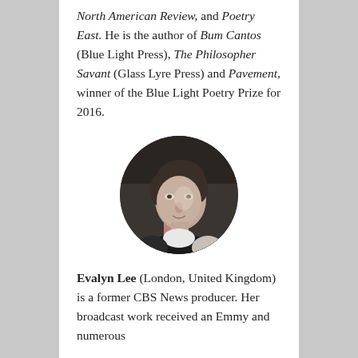North American Review, and Poetry East. He is the author of Bum Cantos (Blue Light Press), The Philosopher Savant (Glass Lyre Press) and Pavement, winner of the Blue Light Poetry Prize for 2016.
[Figure (photo): Black and white circular portrait photo of a middle-aged woman looking slightly upward, with short dark hair, wearing a dark top.]
Evalyn Lee (London, United Kingdom) is a former CBS News producer. Her broadcast work received an Emmy and numerous